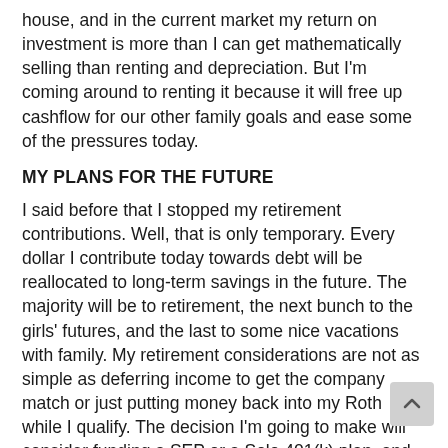house, and in the current market my return on investment is more than I can get mathematically selling than renting and depreciation. But I'm coming around to renting it because it will free up cashflow for our other family goals and ease some of the pressures today.
MY PLANS FOR THE FUTURE
I said before that I stopped my retirement contributions. Well, that is only temporary. Every dollar I contribute today towards debt will be reallocated to long-term savings in the future. The majority will be to retirement, the next bunch to the girls' futures, and the last to some nice vacations with family. My retirement considerations are not as simple as deferring income to get the company match or just putting money back into my Roth while I qualify. The decision I'm going to make will consider funding a SEP or a Solo 401(k) plan, and under the circumstances what will be th most bang for my buck there. Small business own and contractors stay tuned for that blog because hi go through the pros and cons of all of our choices